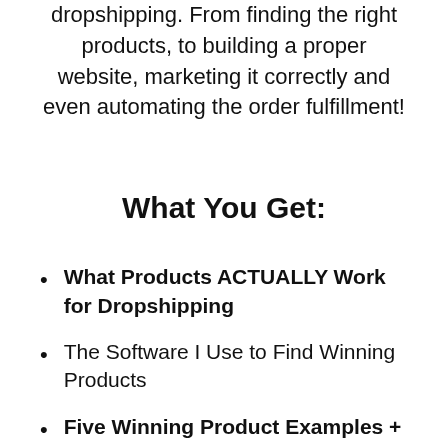dropshipping. From finding the right products, to building a proper website, marketing it correctly and even automating the order fulfillment!
What You Get:
What Products ACTUALLY Work for Dropshipping
The Software I Use to Find Winning Products
Five Winning Product Examples +